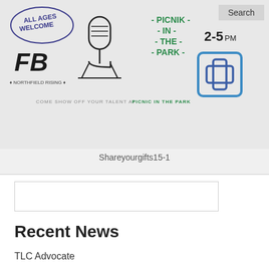[Figure (illustration): Hand-drawn sketch illustration showing text 'All Ages Welcome', 'FB', 'Picnik In The Park', '2-5pm', a microphone drawing, and a blue/teal plus-sign logo. Text at bottom reads 'Northfield Rising' and 'Come Show Off Your Talent At Picnic In The Park'. Search button visible top right.]
Shareyourgifts15-1
Recent News
TLC Advocate
Citizens' Bridge Support Worker
Storefront Enhancement Grants 2022
Storefront Enhancement Application
'They can live with dignity': Community groups work to make sure tenants know, and exercise, their rights